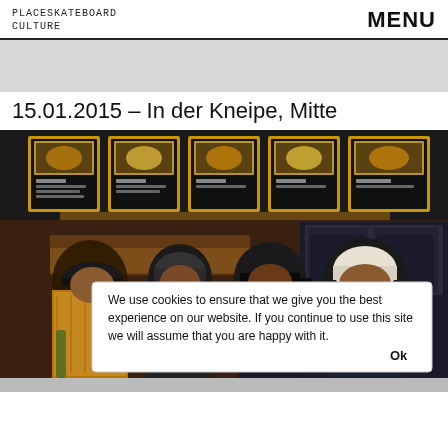PLACESKATEBOARD CULTURE   MENU
15.01.2015 – In der Kneipe, Mitte
[Figure (photo): Four young men standing inside a fast-food restaurant, eating burgers/sandwiches. Menu boards with food photos are visible above them on the wall. The restaurant interior is dimly lit with warm lighting.]
We use cookies to ensure that we give you the best experience on our website. If you continue to use this site we will assume that you are happy with it.   Ok